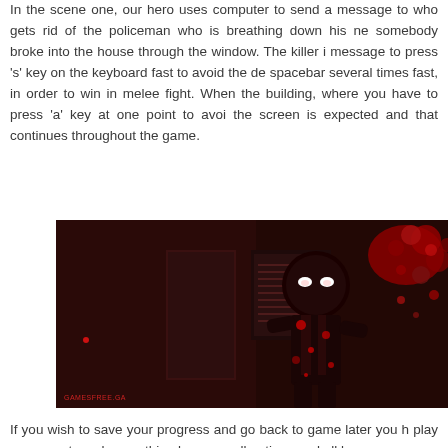In the scene one, our hero uses computer to send a message to who gets rid of the policeman who is breathing down his ne somebody broke into the house through the window. The killer i message to press 's' key on the keyboard fast to avoid the de spacebar several times fast, in order to win in melee fight. When the building, where you have to press 'a' key at one point to avoi the screen is expected and that continues throughout the game.
[Figure (screenshot): Dark red-toned screenshot of a video game showing a dark stickman character with glowing white eyes, wearing a suit covered in red blood splatter. Red blood splashes visible in the upper right. Background shows dark room environment. Watermark 'GAMESFREE.GA' in red at bottom left.]
If you wish to save your progress and go back to game later you h play as a guest you lose nothing because all options and all lev